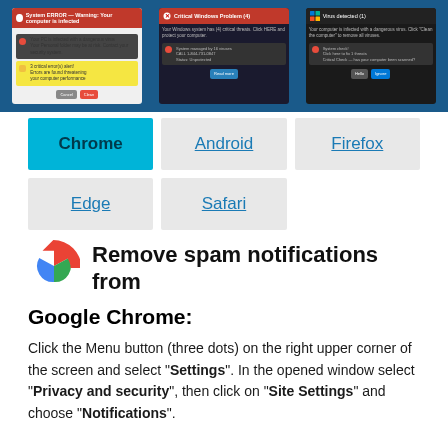[Figure (screenshot): Three browser notification popup windows shown on a blue background, depicting spam/virus warning notifications]
[Figure (infographic): Tab navigation buttons: Chrome (active/highlighted in blue), Android, Firefox, Edge, Safari]
[Figure (logo): Google Chrome logo (colorful circular icon)]
Remove spam notifications from Google Chrome:
Click the Menu button (three dots) on the right upper corner of the screen and select "Settings". In the opened window select "Privacy and security", then click on "Site Settings" and choose "Notifications".